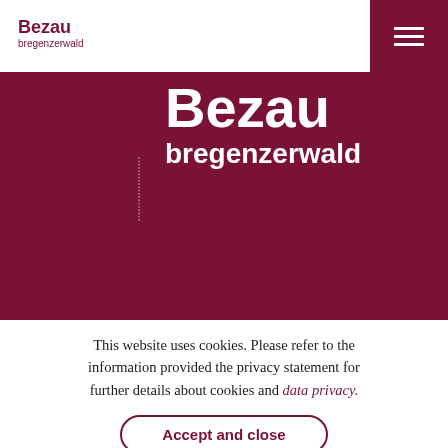Bezau bregenzerwald
Bezau
bregenzerwald
Contact
This website uses cookies. Please refer to the information provided the privacy statement for further details about cookies and data privacy.
Accept and close